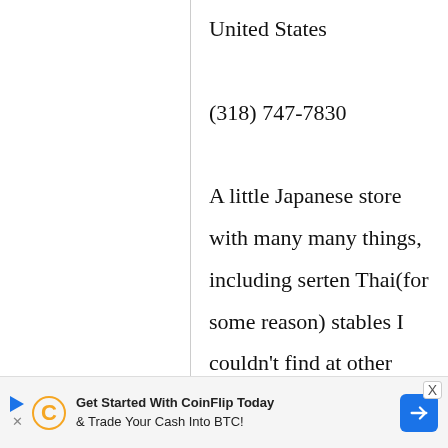United States

(318) 747-7830

A little Japanese store with many many things, including serten Thai(for some reason) stables I couldn't find at other stores such as lemon grass and
[Figure (other): CoinFlip advertisement banner at the bottom of the page. Text reads: Get Started With CoinFlip Today & Trade Your Cash Into BTC!]